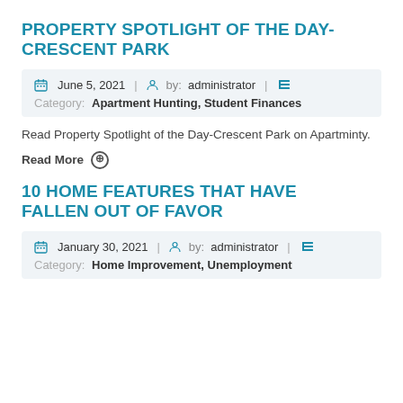PROPERTY SPOTLIGHT OF THE DAY-CRESCENT PARK
June 5, 2021 | by: administrator |
Category: Apartment Hunting, Student Finances
Read Property Spotlight of the Day-Crescent Park on Apartminty.
Read More ⊕
10 HOME FEATURES THAT HAVE FALLEN OUT OF FAVOR
January 30, 2021 | by: administrator |
Category: Home Improvement, Unemployment